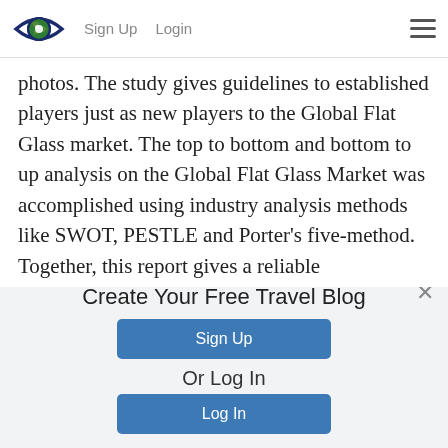Sign Up  Login
photos. The study gives guidelines to established players just as new players to the Global Flat Glass market. The top to bottom and bottom to up analysis on the Global Flat Glass Market was accomplished using industry analysis methods like SWOT, PESTLE and Porter's five-method. Together, this report gives a reliable
Create Your Free Travel Blog
Sign Up
Or Log In
Log In